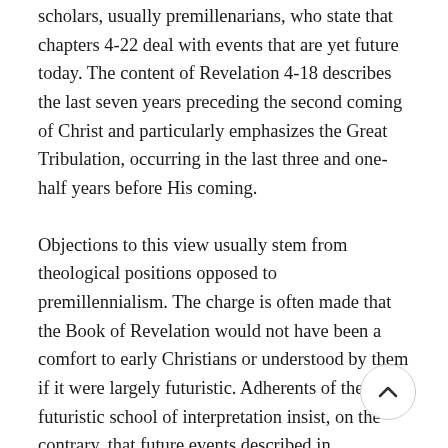scholars, usually premillenarians, who state that chapters 4-22 deal with events that are yet future today. The content of Revelation 4-18 describes the last seven years preceding the second coming of Christ and particularly emphasizes the Great Tribulation, occurring in the last three and one-half years before His coming.
Objections to this view usually stem from theological positions opposed to premillennialism. The charge is often made that the Book of Revelation would not have been a comfort to early Christians or understood by them if it were largely futuristic. Adherents of the futuristic school of interpretation insist, on the contrary, that future events described in Revelation comfort and reassurance to Christians who